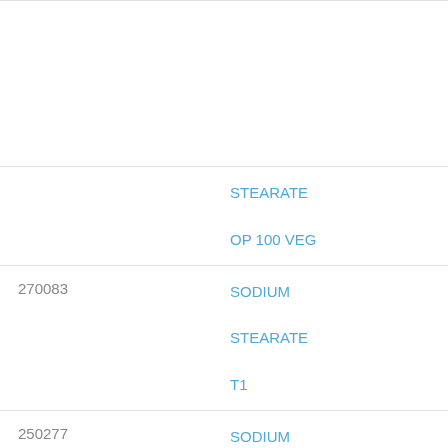| ID | Name |
| --- | --- |
|  | STEARATE
OP 100 VEG |
| 270083 | SODIUM
STEARATE
T1 |
| 250277 | SODIUM
STEAROYL |